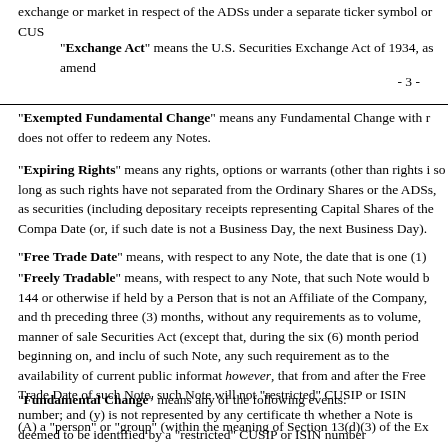exchange or market in respect of the ADSs under a separate ticker symbol or CUS
“Exchange Act” means the U.S. Securities Exchange Act of 1934, as amend
- 3 -
“Exempted Fundamental Change” means any Fundamental Change with r does not offer to redeem any Notes.
“Expiring Rights” means any rights, options or warrants (other than rights i so long as such rights have not separated from the Ordinary Shares or the ADSs, as securities (including depositary receipts representing Capital Shares of the Compa Date (or, if such date is not a Business Day, the next Business Day).
“Free Trade Date” means, with respect to any Note, the date that is one (1)
“Freely Tradable” means, with respect to any Note, that such Note would b 144 or otherwise if held by a Person that is not an Affiliate of the Company, and th preceding three (3) months, without any requirements as to volume, manner of sale Securities Act (except that, during the six (6) month period beginning on, and inclu of such Note, any such requirement as to the availability of current public informat however, that from and after the Free Trade Date of such Note, such Note will not “restricted” CUSIP or ISIN number; and (y) is not represented by any certificate th whether a Note is deemed to be identified by a “restricted” CUSIP or ISIN number
“Fundamental Change” means any of the following events:
(A) a “person” or “group” (within the meaning of Section 13(d)(3) of the Ex